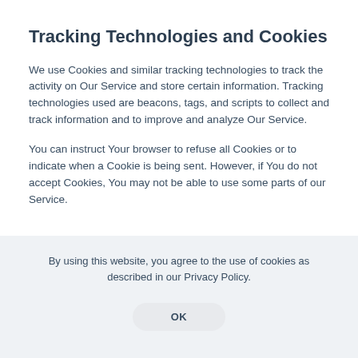Tracking Technologies and Cookies
We use Cookies and similar tracking technologies to track the activity on Our Service and store certain information. Tracking technologies used are beacons, tags, and scripts to collect and track information and to improve and analyze Our Service.
You can instruct Your browser to refuse all Cookies or to indicate when a Cookie is being sent. However, if You do not accept Cookies, You may not be able to use some parts of our Service.
By using this website, you agree to the use of cookies as described in our Privacy Policy.
OK